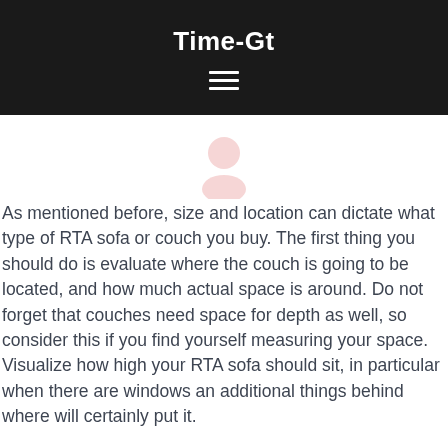Time-Gt
[Figure (illustration): Light pink user/person avatar icon, silhouette of head and shoulders]
As mentioned before, size and location can dictate what type of RTA sofa or couch you buy. The first thing you should do is evaluate where the couch is going to be located, and how much actual space is around. Do not forget that couches need space for depth as well, so consider this if you find yourself measuring your space. Visualize how high your RTA sofa should sit, in particular when there are windows an additional things behind where will certainly put it.